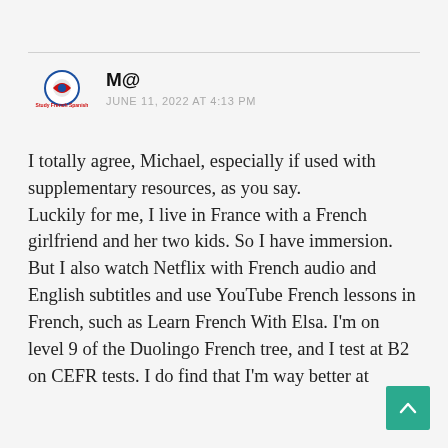M@
JUNE 11, 2022 AT 4:13 PM
I totally agree, Michael, especially if used with supplementary resources, as you say.
Luckily for me, I live in France with a French girlfriend and her two kids. So I have immersion. But I also watch Netflix with French audio and English subtitles and use YouTube French lessons in French, such as Learn French With Elsa. I'm on level 9 of the Duolingo French tree, and I test at B2 on CEFR tests. I do find that I'm way better at